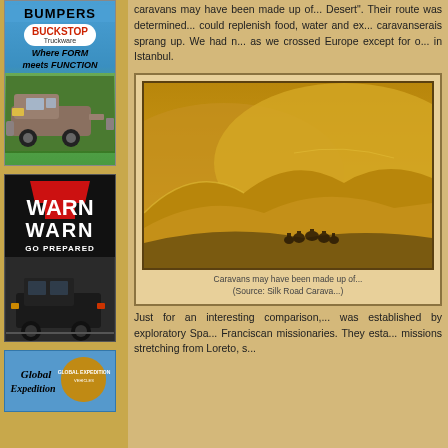[Figure (photo): Buckstop Truckware advertisement - blue and green background with truck image. Text: BUMPERS, BUCKSTOP Truckware, Where FORM meets FUNCTION]
[Figure (photo): WARN winches advertisement - black background with red W logo, jeep image. Text: WARN, GO PREPARED]
[Figure (photo): Global Expedition Vehicles advertisement - blue background with logo]
caravans may have been made up... Desert". Their route was determined... could replenish food, water and ex... caravanserais sprang up. We had n... as we crossed Europe except for o... in Istanbul.
[Figure (photo): Desert caravan scene - sand dunes with people on camels/horses travelling through the desert]
Caravans may have been made up of... (Source: Silk Road Carava...)
Just for an interesting comparison,... was established by exploratory Spa... Franciscan missionaries. They esta... missions stretching from Loreto, s...